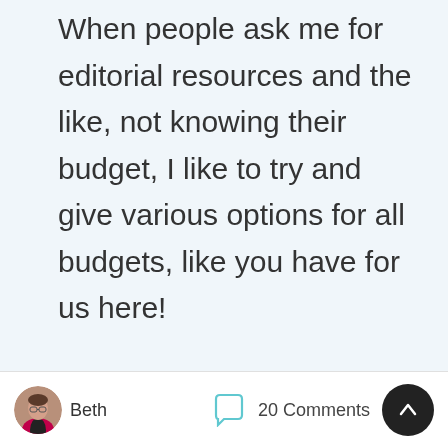When people ask me for editorial resources and the like, not knowing their budget, I like to try and give various options for all budgets, like you have for us here!
Beth says: August 13, 2012 at
Beth
20 Comments